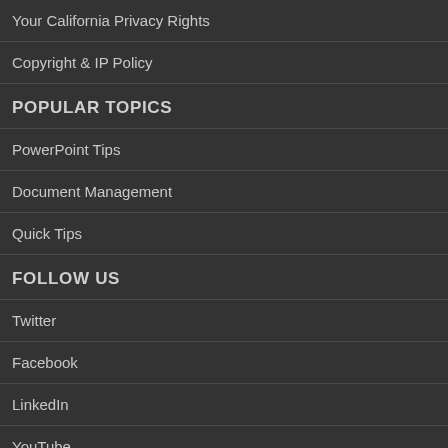Your California Privacy Rights
Copyright & IP Policy
POPULAR TOPICS
PowerPoint Tips
Document Management
Quick Tips
FOLLOW US
Twitter
Facebook
LinkedIn
YouTube
RSS